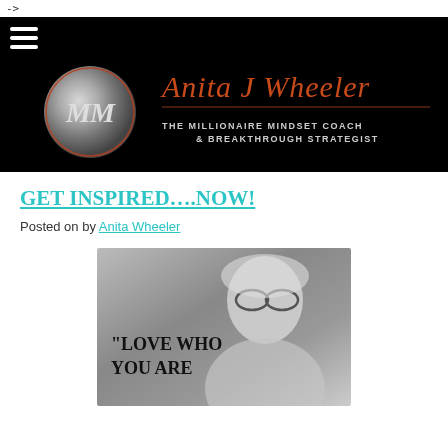->
[Figure (logo): Anita J Wheeler logo — black banner with circular MM logo and script signature 'Anita J Wheeler' in orange-red, with tagline 'THE MILLIONAIRE MINDSET COACH & BREAKTHROUGH STRATEGIST']
GET INSPIRED….NOW!
Posted on by Anita Wheeler
[Figure (photo): Black and white photo of a smiling blonde woman wearing glasses, with overlaid text '"LOVE WHO YOU ARE']